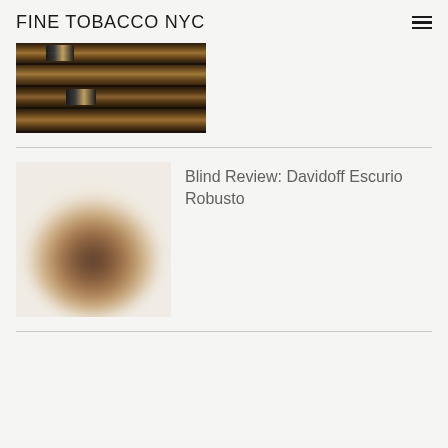FINE TOBACCO NYC
[Figure (photo): Close-up photo of several cigars arranged together, showing their brown tobacco wrappers and bands]
[Figure (photo): Blurred/out-of-focus photo of a cigar, used as thumbnail for the article about Davidoff Escurio Robusto]
Blind Review: Davidoff Escurio Robusto